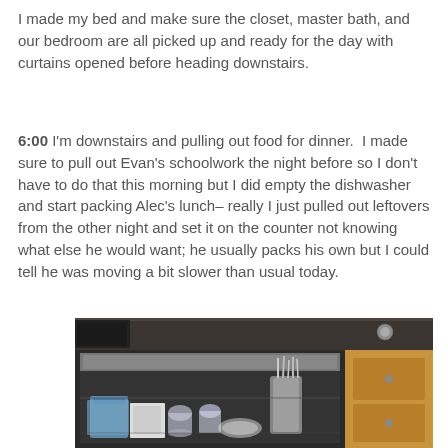I made my bed and make sure the closet, master bath, and our bedroom are all picked up and ready for the day with curtains opened before heading downstairs.
6:00 I'm downstairs and pulling out food for dinner.  I made sure to pull out Evan's schoolwork the night before so I don't have to do that this morning but I did empty the dishwasher and start packing Alec's lunch– really I just pulled out leftovers from the other night and set it on the counter not knowing what else he would want; he usually packs his own but I could tell he was moving a bit slower than usual today.
[Figure (photo): Photo of an open dishwasher with dishes and utensils inside, kitchen counter visible above, wooden cabinet to the right]